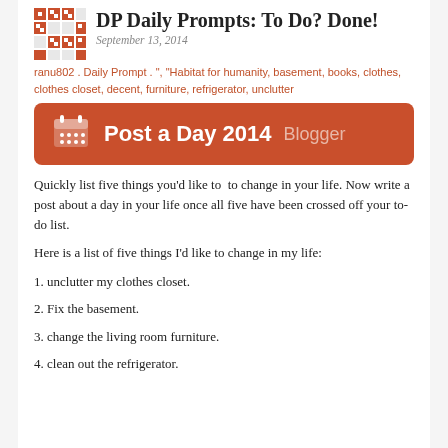DP Daily Prompts: To Do? Done!
September 13, 2014
ranu802 . Daily Prompt . ", "Habitat for humanity, basement, books, clothes, clothes closet, decent, furniture, refrigerator, unclutter
[Figure (other): Post a Day 2014 Blogger banner badge — orange/red rounded rectangle with calendar icon on left, bold white text 'Post a Day 2014' and lighter text 'Blogger']
Quickly list five things you'd like to  to change in your life. Now write a post about a day in your life once all five have been crossed off your to-do list.
Here is a list of five things I'd like to change in my life:
1. unclutter my clothes closet.
2. Fix the basement.
3. change the living room furniture.
4. clean out the refrigerator.